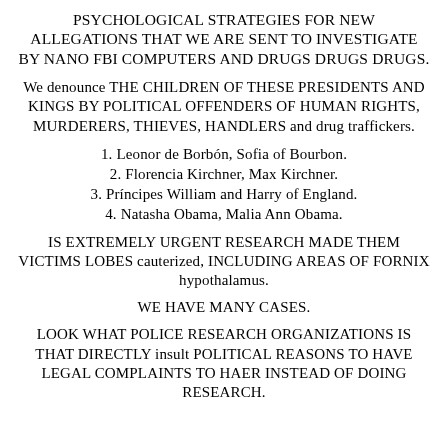PSYCHOLOGICAL STRATEGIES FOR NEW ALLEGATIONS THAT WE ARE SENT TO INVESTIGATE BY NANO FBI COMPUTERS AND DRUGS DRUGS DRUGS.
We denounce THE CHILDREN OF THESE PRESIDENTS AND KINGS BY POLITICAL OFFENDERS OF HUMAN RIGHTS, MURDERERS, THIEVES, HANDLERS and drug traffickers.
1. Leonor de Borbón, Sofia of Bourbon.
2. Florencia Kirchner, Max Kirchner.
3. Príncipes William and Harry of England.
4. Natasha Obama, Malia Ann Obama.
IS EXTREMELY URGENT RESEARCH MADE THEM VICTIMS LOBES cauterized, INCLUDING AREAS OF FORNIX hypothalamus.
WE HAVE MANY CASES.
LOOK WHAT POLICE RESEARCH ORGANIZATIONS IS THAT DIRECTLY insult POLITICAL REASONS TO HAVE LEGAL COMPLAINTS TO HAER INSTEAD OF DOING RESEARCH.